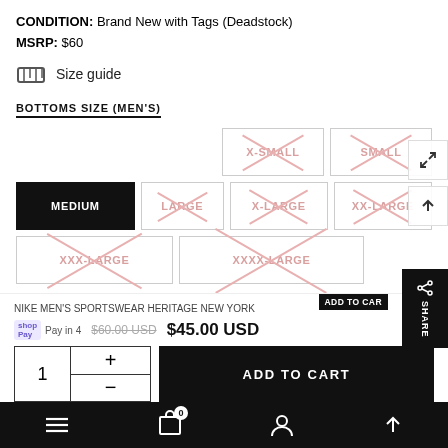CONDITION: Brand New with Tags (Deadstock)
MSRP: $60
Size guide
BOTTOMS SIZE (MEN'S)
X-SMALL (unavailable), SMALL (unavailable), MEDIUM (selected), LARGE (unavailable), X-LARGE (unavailable), XX-LARGE (unavailable), XXX-LARGE (unavailable), XXXX-LARGE (unavailable)
1  +  -  ADD TO CART
Pay in 4 interest-free installments of $11.25 with shop Pay
NIKE MEN'S SPORTSWEAR HERITAGE NEW YORK
$60.00 USD  $45.00 USD
ADD TO CART (overlay)
Navigation bar with menu, cart (0), profile, and scroll-up icons